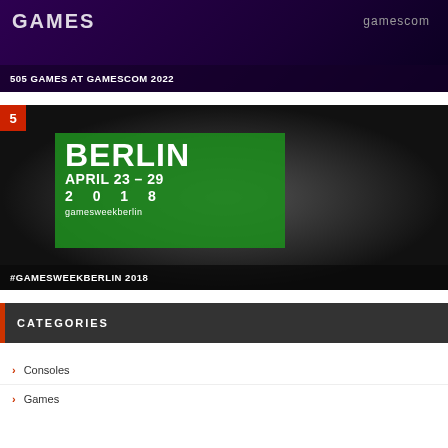[Figure (photo): 505 Games at Gamescom 2022 promotional banner with dark purple background, GAMES logo and gamescom logo visible]
505 GAMES AT GAMESCOM 2022
[Figure (photo): GamesWeekBerlin 2018 promotional banner with black and white radial burst background and a green box containing BERLIN APRIL 23-29 2018 gamesweekberlin text]
#GAMESWEEKBERLIN 2018
CATEGORIES
Consoles
Games